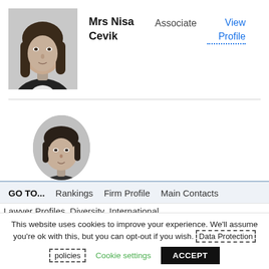[Figure (photo): Black and white professional headshot of Mrs Nisa Cevik, a woman with long hair wearing a dark blazer and white shirt]
Mrs Nisa Cevik
Associate
View Profile
[Figure (photo): Black and white professional headshot of a woman with dark hair, partially visible, circular crop]
GO TO...   Rankings   Firm Profile   Main Contacts
Lawyer Profiles   Diversity   International
This website uses cookies to improve your experience. We'll assume you're ok with this, but you can opt-out if you wish. Data Protection policies
Cookie settings
ACCEPT